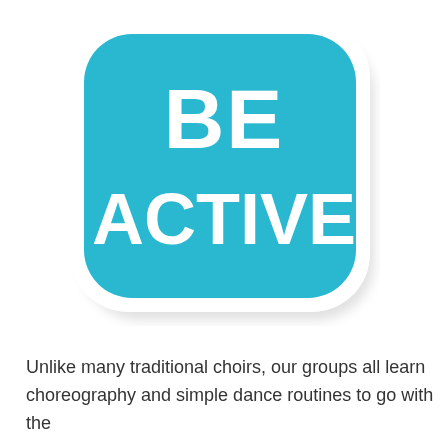[Figure (logo): A teal rounded-square sticker/logo with white text reading 'BE ACTIVE' in bold rounded lettering, with a white border and drop shadow.]
Unlike many traditional choirs, our groups all learn choreography and simple dance routines to go with the